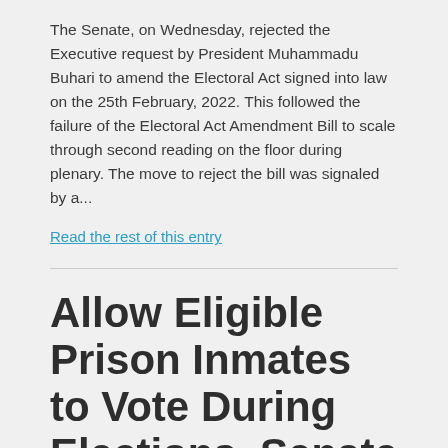The Senate, on Wednesday, rejected the Executive request by President Muhammadu Buhari to amend the Electoral Act signed into law on the 25th February, 2022. This followed the failure of the Electoral Act Amendment Bill to scale through second reading on the floor during plenary. The move to reject the bill was signaled by a...
Read the rest of this entry
Allow Eligible Prison Inmates to Vote During Elections, Senate